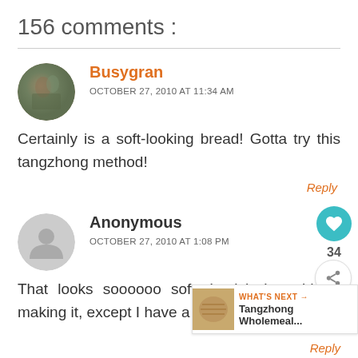156 comments :
Busygran
OCTOBER 27, 2010 AT 11:34 AM
Certainly is a soft-looking bread! Gotta try this tangzhong method!
Reply
Anonymous
OCTOBER 27, 2010 AT 1:08 PM
That looks soooooo soft. I wish I could try making it, except I have a pullman's tin.
Reply